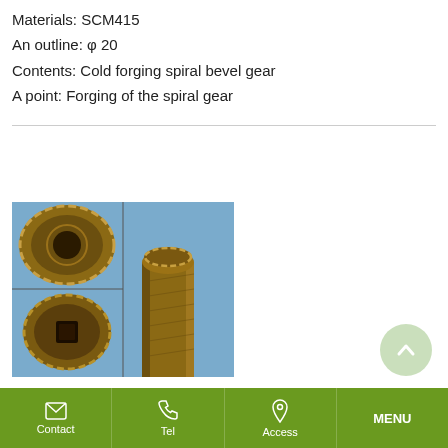Materials: SCM415
An outline: φ 20
Contents: Cold forging spiral bevel gear
A point: Forging of the spiral gear
[Figure (photo): Photograph of cold forged spiral bevel gears showing three views: top view of ring gear (upper left), side view of pinion gear on shaft (upper right/center), and bottom view of ring gear (lower left), all on blue background.]
Contact  Tel  Access  MENU